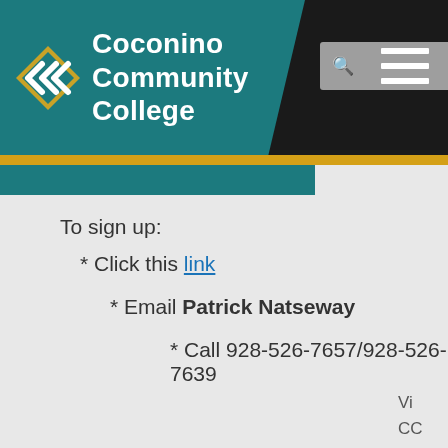[Figure (logo): Coconino Community College logo with teal background, white chevron arrows, and white bold text]
To sign up:
* Click this link
* Email Patrick Natseway
* Call 928-526-7657/928-526-7639
Vi
CC
Fo
St
ca
Ple
br
yo
ph
ID.